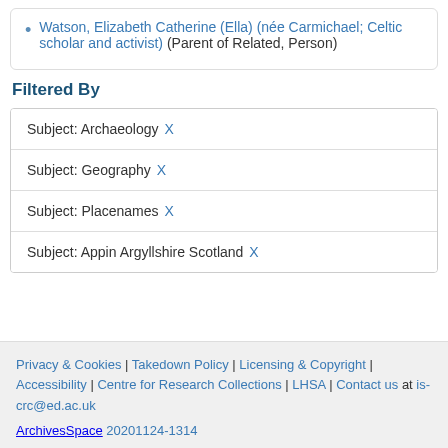Watson, Elizabeth Catherine (Ella) (née Carmichael; Celtic scholar and activist) (Parent of Related, Person)
Filtered By
| Subject: Archaeology X |
| Subject: Geography X |
| Subject: Placenames X |
| Subject: Appin Argyllshire Scotland X |
Privacy & Cookies | Takedown Policy | Licensing & Copyright | Accessibility | Centre for Research Collections | LHSA | Contact us at is-crc@ed.ac.uk
ArchivesSpace 20201124-1314